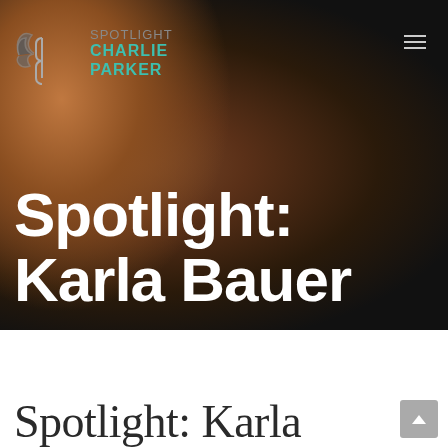[Figure (photo): Hero image of a woman with long auburn/red wavy hair wearing a dark jacket, posed dramatically against a dark blurred background. Over the image is the Spotlight Charlie Parker logo (with wing icon) in the top left, a hamburger menu in the top right, and large white bold text reading 'Spotlight: Karla Bauer']
Spotlight: Karla